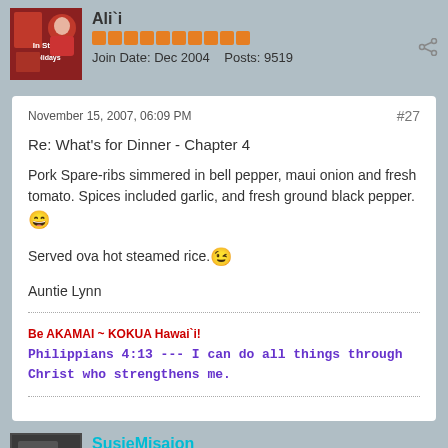Ali`i
Join Date: Dec 2004   Posts: 9519
November 15, 2007, 06:09 PM   #27
Re: What's for Dinner - Chapter 4
Pork Spare-ribs simmered in bell pepper, maui onion and fresh tomato. Spices included garlic, and fresh ground black pepper. 😊
Served ova hot steamed rice. 😉
Auntie Lynn
Be AKAMAI ~ KOKUA Hawai`i!
Philippians 4:13 --- I can do all things through Christ who strengthens me.
SusieMisajon
Ali`i